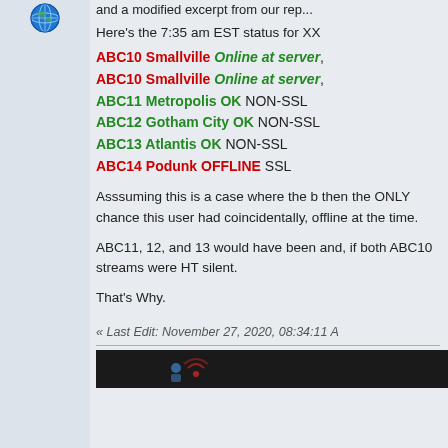[Figure (illustration): Globe/internet icon in upper left area]
and a modified excerpt from our rep...
Here's the 7:35 am EST status for XX
ABC10 Smallville Online at server,
ABC10 Smallville Online at server,
ABC11 Metropolis OK NON-SSL
ABC12 Gotham City OK NON-SSL
ABC13 Atlantis OK NON-SSL
ABC14 Podunk OFFLINE SSL
Asssuming this is a case where the b then the ONLY chance this user had coincidentally, offline at the time.
ABC11, 12, and 13 would have been and, if both ABC10 streams were HT silent.
That's Why.
« Last Edit: November 27, 2020, 08:34:11 A
[Figure (screenshot): Dark bar at bottom with partial image content]